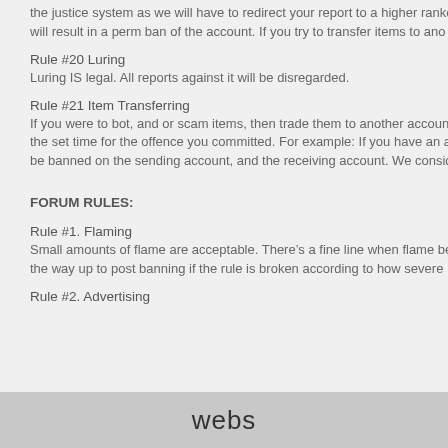the justice system as we will have to redirect your report to a higher ranko will result in a perm ban of the account. If you try to transfer items to ano
Rule #20 Luring
Luring IS legal. All reports against it will be disregarded.
Rule #21 Item Transferring
If you were to bot, and or scam items, then trade them to another accoun the set time for the offence you committed. For example: If you have an a be banned on the sending account, and the receiving account. We consid
FORUM RULES:
Rule #1. Flaming
Small amounts of flame are acceptable. There’s a fine line when flame be the way up to post banning if the rule is broken according to how severe
Rule #2. Advertising
webs